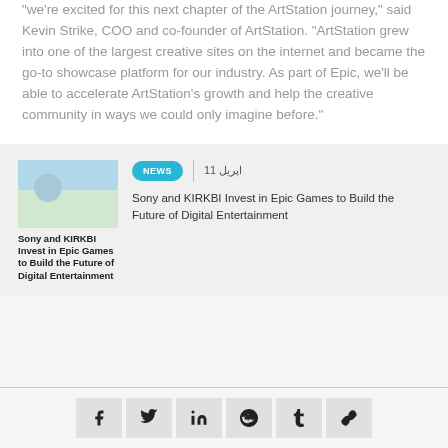"we're excited for this next chapter of the ArtStation journey," said Kevin Strike, COO and co-founder of ArtStation. "ArtStation grew into one of the largest creative sites on the internet and became the go-to showcase platform for our industry. As part of Epic, we'll be able to accelerate ArtStation's growth and help the creative community in ways we could only imagine before."
[Figure (illustration): Thumbnail image for Sony and KIRKBI article with bold title text overlay]
NEWS | اپریل 11
Sony and KIRKBI Invest in Epic Games to Build the Future of Digital Entertainment
Share buttons: Facebook, Twitter, LinkedIn, Reddit, Tumblr, Link